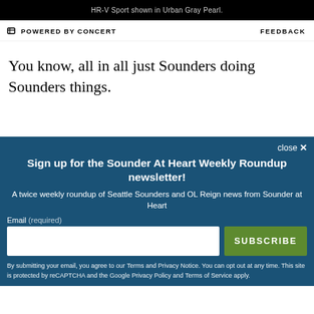HR-V Sport shown in Urban Gray Pearl.
POWERED BY CONCERT    FEEDBACK
You know, all in all just Sounders doing Sounders things.
close ×
Sign up for the Sounder At Heart Weekly Roundup newsletter!
A twice weekly roundup of Seattle Sounders and OL Reign news from Sounder at Heart
Email (required)
SUBSCRIBE
By submitting your email, you agree to our Terms and Privacy Notice. You can opt out at any time. This site is protected by reCAPTCHA and the Google Privacy Policy and Terms of Service apply.